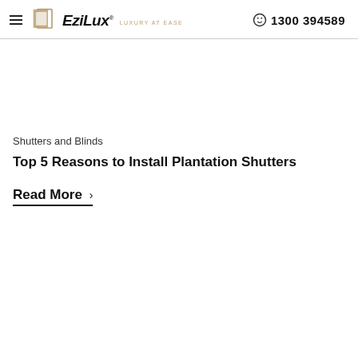EziLux® | 1300 394 589
Shutters and Blinds
Top 5 Reasons to Install Plantation Shutters
Read More ›